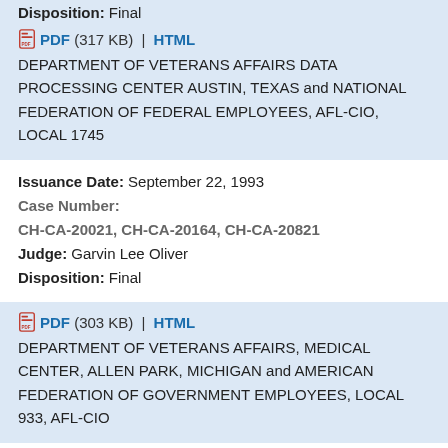Disposition: Final
PDF (317 KB) | HTML
DEPARTMENT OF VETERANS AFFAIRS DATA PROCESSING CENTER AUSTIN, TEXAS and NATIONAL FEDERATION OF FEDERAL EMPLOYEES, AFL-CIO, LOCAL 1745
Issuance Date: September 22, 1993
Case Number: CH-CA-20021, CH-CA-20164, CH-CA-20821
Judge: Garvin Lee Oliver
Disposition: Final
PDF (303 KB) | HTML
DEPARTMENT OF VETERANS AFFAIRS, MEDICAL CENTER, ALLEN PARK, MICHIGAN and AMERICAN FEDERATION OF GOVERNMENT EMPLOYEES, LOCAL 933, AFL-CIO